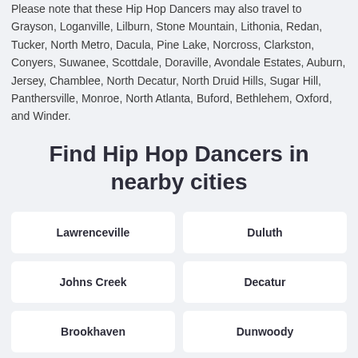Please note that these Hip Hop Dancers may also travel to Grayson, Loganville, Lilburn, Stone Mountain, Lithonia, Redan, Tucker, North Metro, Dacula, Pine Lake, Norcross, Clarkston, Conyers, Suwanee, Scottdale, Doraville, Avondale Estates, Auburn, Jersey, Chamblee, North Decatur, North Druid Hills, Sugar Hill, Panthersville, Monroe, North Atlanta, Buford, Bethlehem, Oxford, and Winder.
Find Hip Hop Dancers in nearby cities
Lawrenceville
Duluth
Johns Creek
Decatur
Brookhaven
Dunwoody